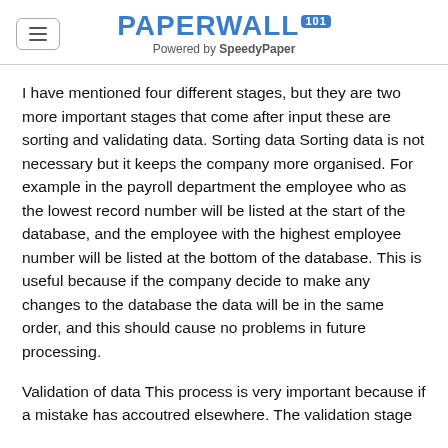PAPERWALL 101 Powered by SpeedyPaper
I have mentioned four different stages, but they are two more important stages that come after input these are sorting and validating data. Sorting data Sorting data is not necessary but it keeps the company more organised. For example in the payroll department the employee who as the lowest record number will be listed at the start of the database, and the employee with the highest employee number will be listed at the bottom of the database. This is useful because if the company decide to make any changes to the database the data will be in the same order, and this should cause no problems in future processing.
Validation of data This process is very important because if a mistake has accoutred elsewhere. The validation stage